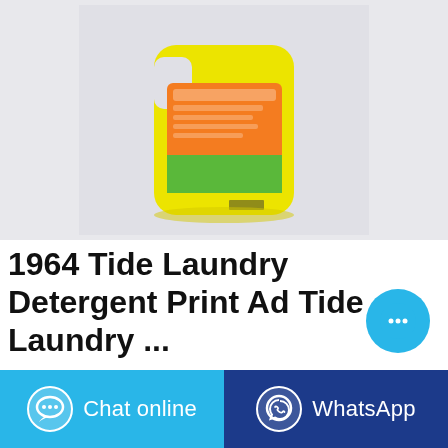[Figure (photo): Product photo of a yellow laundry detergent bottle with orange and green label, shown from the back, on a light gray background.]
1964 Tide Laundry Detergent Print Ad Tide Laundry ...
Find many great new & used options and get the best deals for 1964 Tide Laundry Detergent Print Ad Tide Laundry Detergent in Every Kelvinator at the best online prices ...